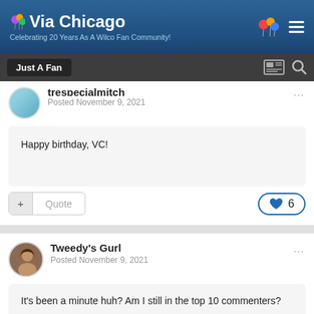Via Chicago — Celebrating 20 Years As A Wilco Fan Community!
Just A Fan
trespecialmitch
Posted November 9, 2021
Happy birthday, VC!
Quote  ❤ 6
Tweedy's Gurl
Posted November 9, 2021
It's been a minute huh? Am I still in the top 10 commenters?

20 years is a hell of a long time. Weird to think I joined nearly at the